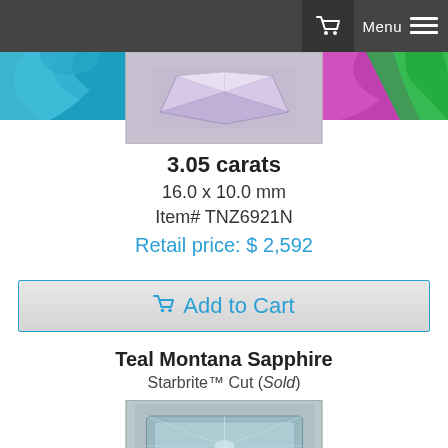Menu
[Figure (photo): Colorful decorative glass/gem art at top of page with teal, purple, and green colors]
[Figure (photo): Light purple/lavender rectangular faceted gemstone on gray background]
3.05 carats
16.0 x 10.0 mm
Item# TNZ6921N
Retail price: $ 2,592
Add to Cart
Teal Montana Sapphire
Starbrite™ Cut (Sold)
[Figure (photo): Teal/light blue rectangular faceted Montana sapphire gemstone with starbrite cut pattern on gray background]